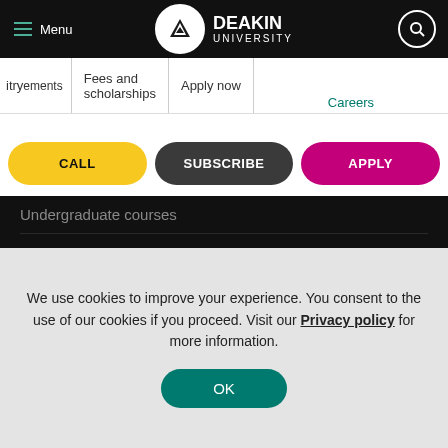Deakin University – Menu | Search
itry | ements | Fees and scholarships | Apply now | Careers
CALL   SUBSCRIBE   APPLY
Undergraduate courses
Postgraduate courses
Short courses
Online courses
Research
We use cookies to improve your experience. You consent to the use of our cookies if you proceed. Visit our Privacy policy for more information.
OK